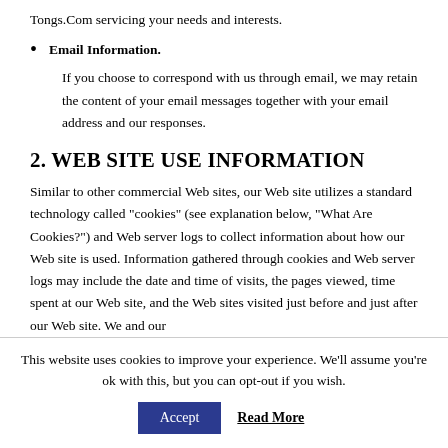Tongs.Com servicing your needs and interests.
Email Information. If you choose to correspond with us through email, we may retain the content of your email messages together with your email address and our responses.
2. WEB SITE USE INFORMATION
Similar to other commercial Web sites, our Web site utilizes a standard technology called “cookies” (see explanation below, “What Are Cookies?”) and Web server logs to collect information about how our Web site is used. Information gathered through cookies and Web server logs may include the date and time of visits, the pages viewed, time spent at our Web site, and the Web sites visited just before and just after our Web site. We and our
This website uses cookies to improve your experience. We’ll assume you’re ok with this, but you can opt-out if you wish.
Accept  Read More